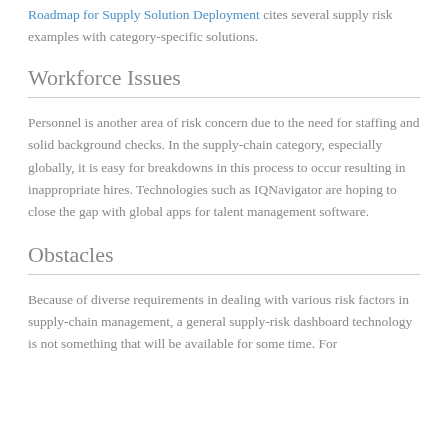Roadmap for Supply Solution Deployment cites several supply risk examples with category-specific solutions.
Workforce Issues
Personnel is another area of risk concern due to the need for staffing and solid background checks. In the supply-chain category, especially globally, it is easy for breakdowns in this process to occur resulting in inappropriate hires. Technologies such as IQNavigator are hoping to close the gap with global apps for talent management software.
Obstacles
Because of diverse requirements in dealing with various risk factors in supply-chain management, a general supply-risk dashboard technology is not something that will be available for some time. For